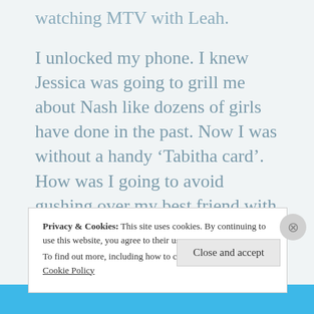watching MTV with Leah.
I unlocked my phone. I knew Jessica was going to grill me about Nash like dozens of girls have done in the past. Now I was without a handy ‘Tabitha card’. How was I going to avoid gushing over my best friend with his new, exotic, extremely hot girlfriend?
Privacy & Cookies: This site uses cookies. By continuing to use this website, you agree to their use.
To find out more, including how to control cookies, see here: Cookie Policy
Close and accept